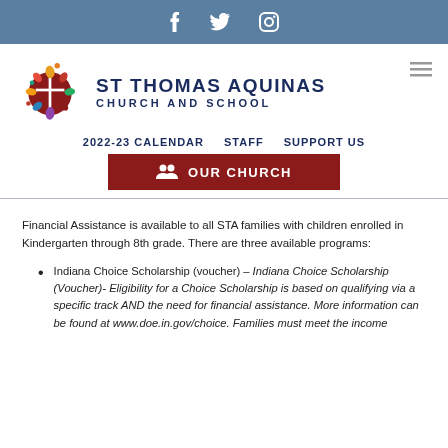Social media icons: Facebook, Twitter, Instagram
[Figure (logo): St Thomas Aquinas Church and School colorful globe logo]
ST THOMAS AQUINAS CHURCH AND SCHOOL
2022-23 CALENDAR   STAFF   SUPPORT US
OUR CHURCH
Financial Assistance is available to all STA families with children enrolled in Kindergarten through 8th grade. There are three available programs:
Indiana Choice Scholarship (voucher) – Indiana Choice Scholarship (Voucher)- Eligibility for a Choice Scholarship is based on qualifying via a specific track AND the need for financial assistance. More information can be found at www.doe.in.gov/choice. Families must meet the income